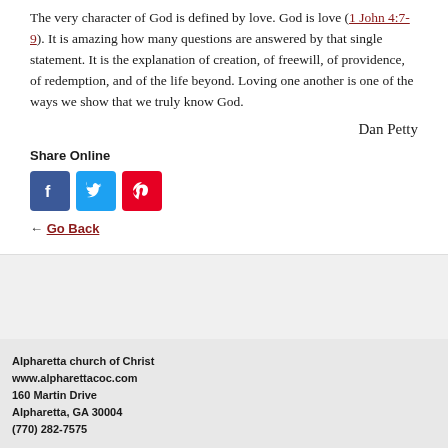The very character of God is defined by love. God is love (1 John 4:7-9). It is amazing how many questions are answered by that single statement. It is the explanation of creation, of freewill, of providence, of redemption, and of the life beyond. Loving one another is one of the ways we show that we truly know God.
Dan Petty
Share Online
[Figure (other): Social media share icons: Facebook, Twitter, Pinterest]
← Go Back
Alpharetta church of Christ
www.alpharettacoc.com
160 Martin Drive
Alpharetta, GA 30004
(770) 282-7575